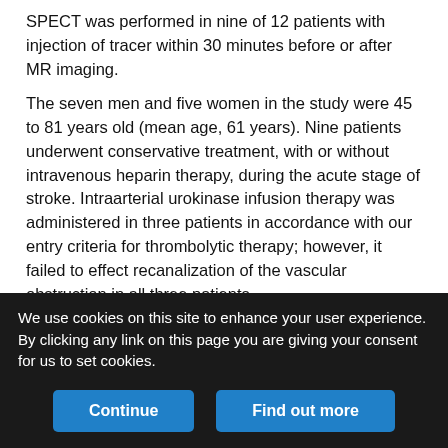SPECT was performed in nine of 12 patients with injection of tracer within 30 minutes before or after MR imaging.
The seven men and five women in the study were 45 to 81 years old (mean age, 61 years). Nine patients underwent conservative treatment, with or without intravenous heparin therapy, during the acute stage of stroke. Intraarterial urokinase infusion therapy was administered in three patients in accordance with our entry criteria for thrombolytic therapy; however, it failed to effect recanalization of the vascular obstruction in all three patients.
Neurologic Assessment
As a measure of the severity of neurologic deficit, the National
We use cookies on this site to enhance your user experience. By clicking any link on this page you are giving your consent for us to set cookies.